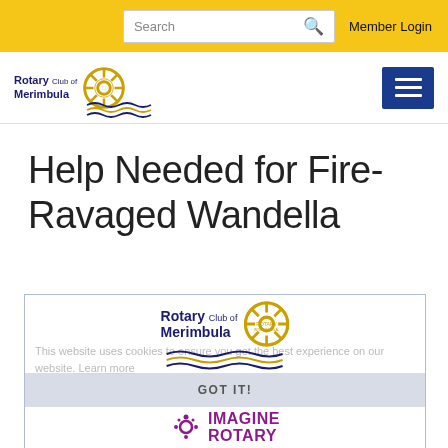Search | Member Login
[Figure (logo): Rotary Club of Merimbula logo with navigation hamburger menu]
Help Needed for Fire-Ravaged Wandella
[Figure (screenshot): Cookie consent overlay showing Rotary Club of Merimbula logo, cookie notice text, GOT IT button, and IMAGINE ROTARY logo at bottom]